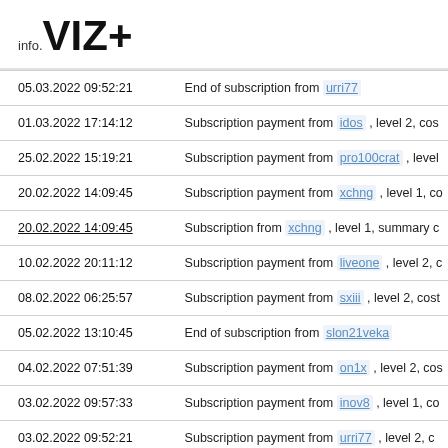info.VIZ+
| Date | Description |
| --- | --- |
| 05.03.2022 09:52:21 | End of subscription from urri77 |
| 01.03.2022 17:14:12 | Subscription payment from idos , level 2, cos… |
| 25.02.2022 15:19:21 | Subscription payment from pro100crat , level… |
| 20.02.2022 14:09:45 | Subscription payment from xchng , level 1, co… |
| 20.02.2022 14:09:45 | Subscription from xchng , level 1, summary c… |
| 10.02.2022 20:11:12 | Subscription payment from liveone , level 2, c… |
| 08.02.2022 06:25:57 | Subscription payment from sxiii , level 2, cost… |
| 05.02.2022 13:10:45 | End of subscription from slon21veka |
| 04.02.2022 07:51:39 | Subscription payment from on1x , level 2, cos… |
| 03.02.2022 09:57:33 | Subscription payment from inov8 , level 1, co… |
| 03.02.2022 09:52:21 | Subscription payment from urri77 , level 2, c… |